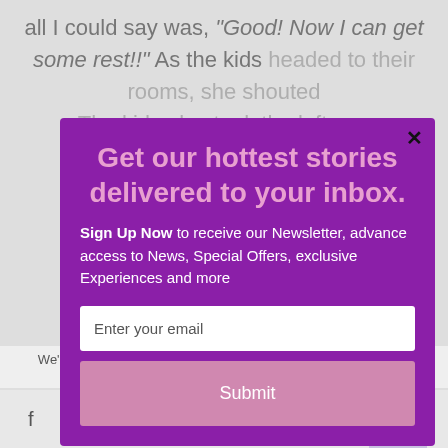all I could say was, "Good! Now I can get some rest!!" As the kids headed to their rooms, she shouted. The kids also took the leftover pizzas out from the fridge.
Get our hottest stories delivered to your inbox.
Sign Up Now to receive our Newsletter, advance access to News, Special Offers, exclusive Experiences and more
Enter your email
Submit
We'll assume you're ok with this, but you can opt-out if powered by MailMunch